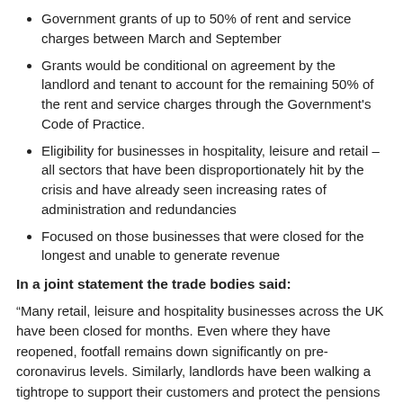Government grants of up to 50% of rent and service charges between March and September
Grants would be conditional on agreement by the landlord and tenant to account for the remaining 50% of the rent and service charges through the Government's Code of Practice.
Eligibility for businesses in hospitality, leisure and retail – all sectors that have been disproportionately hit by the crisis and have already seen increasing rates of administration and redundancies
Focused on those businesses that were closed for the longest and unable to generate revenue
In a joint statement the trade bodies said:
“Many retail, leisure and hospitality businesses across the UK have been closed for months. Even where they have reopened, footfall remains down significantly on pre-coronavirus levels. Similarly, landlords have been walking a tightrope to support their customers and protect the pensions and savings of millions of people invested in commercial property across the country.
“Many landlords and tenants are working collaboratively to agree new payment plans, but there remains a significant proportion of